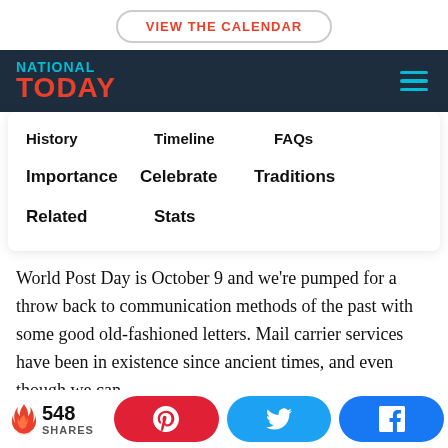VIEW THE CALENDAR
[Figure (logo): National Today logo on dark navy background with hamburger menu icon]
History  Timeline  FAQs
Importance  Celebrate  Traditions
Related  Stats
World Post Day is October 9 and we're pumped for a throw back to communication methods of the past with some good old-fashioned letters. Mail carrier services have been in existence since ancient times, and even though we can
548 SHARES